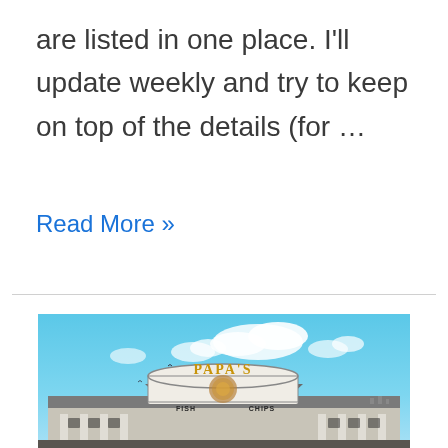are listed in one place. I'll update weekly and try to keep on top of the details (for …
Read More »
[Figure (photo): Exterior photo of Papa's Fish and Chips restaurant building with golden PAPA'S signage on the facade, blue sky with white clouds in background]